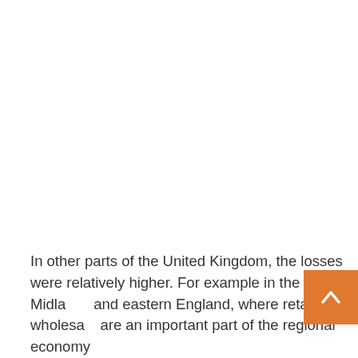In other parts of the United Kingdom, the losses were relatively higher. For example in the Midlands and eastern England, where retail and wholesale are an important part of the regional economy